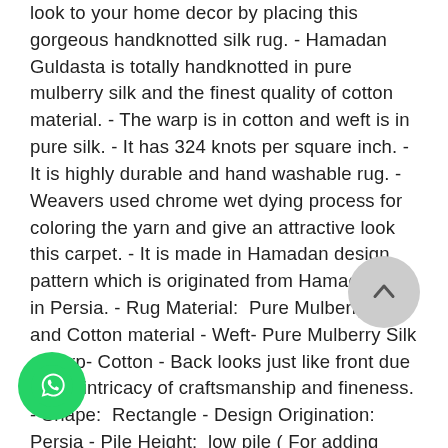look to your home decor by placing this gorgeous handknotted silk rug. - Hamadan Guldasta is totally handknotted in pure mulberry silk and the finest quality of cotton material. - The warp is in cotton and weft is in pure silk. - It has 324 knots per square inch. - It is highly durable and hand washable rug. - Weavers used chrome wet dying process for coloring the yarn and give an attractive look this carpet. - It is made in Hamadan design pattern which is originated from Hamadan city in Persia. - Rug Material:  Pure Mulberry Silk and Cotton material - Weft- Pure Mulberry Silk - Warp- Cotton - Back looks just like front due to the intricacy of craftsmanship and fineness. - Shape:  Rectangle - Design Origination: Persia - Pile Height:  low pile ( For adding strength to this carpet) - Rug Construction:  Handmade - Construction Technique:  Hand-knotted - Décor Style:  Traditional Persian / Oriental - Indoor/Outdoor Use:  Indoor - Care Cleaning:  Vacuum / Hand-washable / Professional Cleaning Regularly - Pattern: Hamadan - Color Combination: Ivory, Gold, Blue - Main Color- Gold -